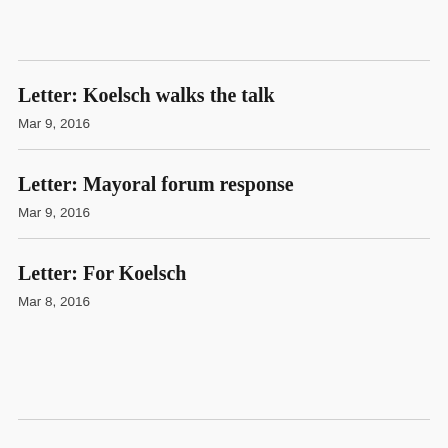Letter: Koelsch walks the talk
Mar 9, 2016
Letter: Mayoral forum response
Mar 9, 2016
Letter: For Koelsch
Mar 8, 2016